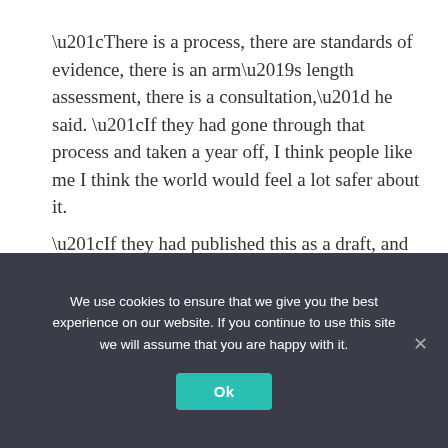“There is a process, there are standards of evidence, there is an arm’s length assessment, there is a consultation,” he said. “If they had gone through that process and taken a year off, I think people like me I think the world would feel a lot safer about it.
“If they had published this as a draft, and the CCES always left the door open for more evidence, you have people from all over the world, scientists, athletes, ethicists, etc., and people came to a consensus that way. , so you’d have some confidence in that, but not in this.”
We use cookies to ensure that we give you the best experience on our website. If you continue to use this site we will assume that you are happy with it.